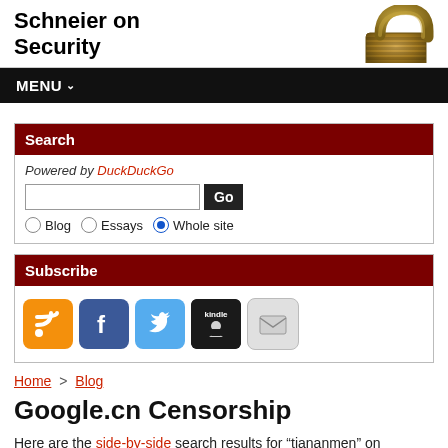Schneier on Security
MENU
Search
Powered by DuckDuckGo
Subscribe
Home > Blog
Google.cn Censorship
Here are the side-by-side search results for “tiananmen” on google.com and google.cn.